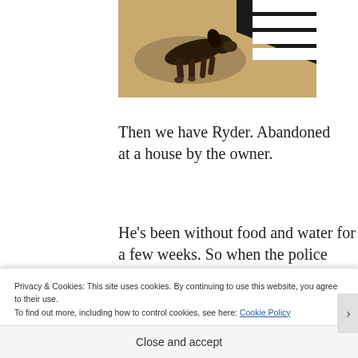[Figure (photo): Photo of a dog (appears to be a dachshund or similar) lying on a beige/tan carpet next to a zebra-stripe patterned item, photographed from above.]
Then we have Ryder. Abandoned at a house by the owner.
He's been without food and water for a few weeks. So when the police show up
Privacy & Cookies: This site uses cookies. By continuing to use this website, you agree to their use.
To find out more, including how to control cookies, see here: Cookie Policy
Close and accept